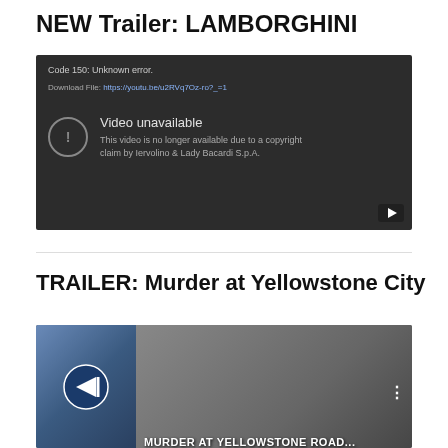NEW Trailer: LAMBORGHINI
[Figure (screenshot): Embedded video player showing error: Code 150: Unknown error. Download File: https://youtu.be/u2RVq7Oz-ro?_=1. Video unavailable - This video is no longer available due to a copyright claim by Iervolino & Lady Bacardi S.p.A.]
TRAILER: Murder at Yellowstone City
[Figure (screenshot): Partially visible video thumbnail showing 'MURDER AT YELLOWSTONE ROAD...' text with a Rapid Dealer logo on the left side]